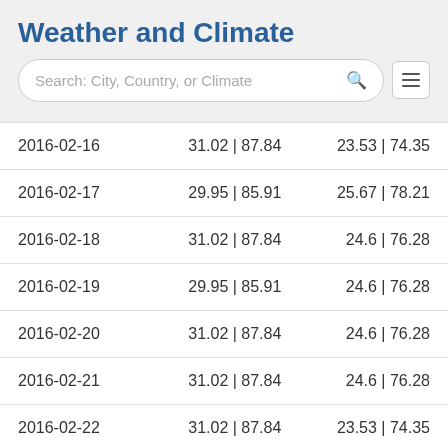Weather and Climate
Search: City, Country, or Climate
| Date | Max Temp | Min Temp |
| --- | --- | --- |
| 2016-02-16 | 31.02 | 87.84 | 23.53 | 74.35 |
| 2016-02-17 | 29.95 | 85.91 | 25.67 | 78.21 |
| 2016-02-18 | 31.02 | 87.84 | 24.6 | 76.28 |
| 2016-02-19 | 29.95 | 85.91 | 24.6 | 76.28 |
| 2016-02-20 | 31.02 | 87.84 | 24.6 | 76.28 |
| 2016-02-21 | 31.02 | 87.84 | 24.6 | 76.28 |
| 2016-02-22 | 31.02 | 87.84 | 23.53 | 74.35 |